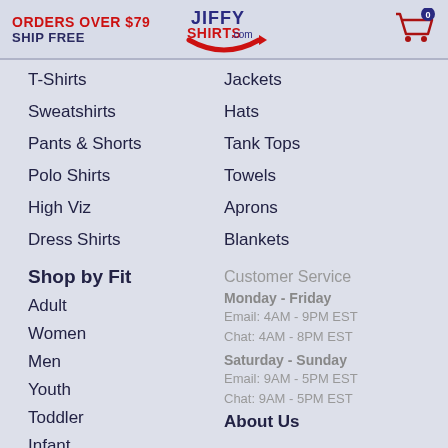ORDERS OVER $79 SHIP FREE
[Figure (logo): Jiffy Shirts .com logo with arrow swoosh]
[Figure (illustration): Shopping cart icon with badge showing 0]
T-Shirts
Jackets
Sweatshirts
Hats
Pants & Shorts
Tank Tops
Polo Shirts
Towels
High Viz
Aprons
Dress Shirts
Blankets
Shop by Fit
Customer Service
Monday - Friday
Email: 4AM - 9PM EST
Chat: 4AM - 8PM EST
Saturday - Sunday
Email: 9AM - 5PM EST
Chat: 9AM - 5PM EST
Adult
Women
Men
Youth
Toddler
Infant
About Us